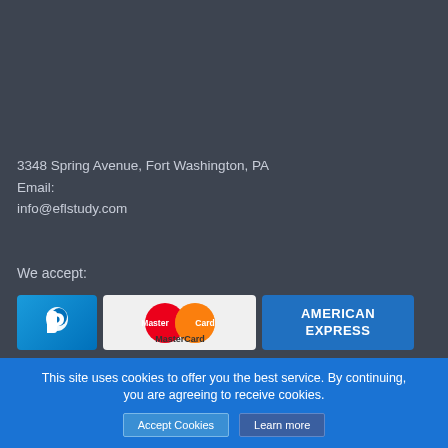3348 Spring Avenue, Fort Washington, PA
Email:
info@eflstudy.com
We accept:
[Figure (logo): PayPal, MasterCard, and American Express payment icons displayed side by side]
This site uses cookies to offer you the best service. By continuing, you are agreeing to receive cookies.